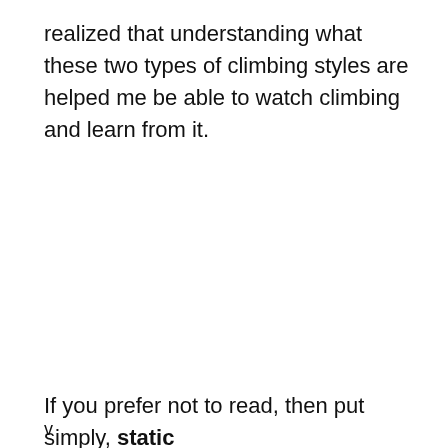realized that understanding what these two types of climbing styles are helped me be able to watch climbing and learn from it.
If you prefer not to read, then put simply, static
v